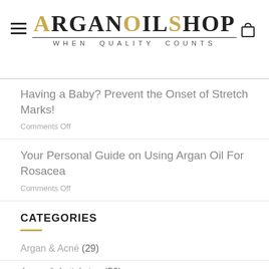ARGANOILSHOP — WHEN QUALITY COUNTS
Having a Baby? Prevent the Onset of Stretch Marks!
Comments Off
Your Personal Guide on Using Argan Oil For Rosacea
Comments Off
CATEGORIES
Argan & Acné (29)
Argan & Anti-Aging (56)
Argan & Hair (83)